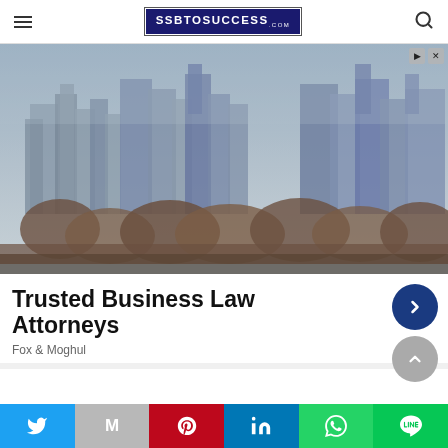SSBTOSUCCESS
[Figure (photo): City skyline with tall buildings and trees in foggy/hazy conditions]
Trusted Business Law Attorneys
Fox & Moghul
Social share bar: Twitter, Gmail/Mail, Pinterest, LinkedIn, WhatsApp, Line